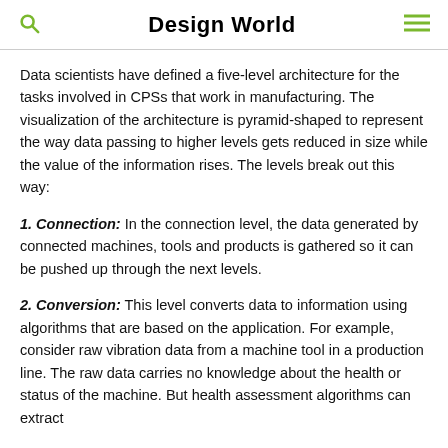Design World
Data scientists have defined a five-level architecture for the tasks involved in CPSs that work in manufacturing. The visualization of the architecture is pyramid-shaped to represent the way data passing to higher levels gets reduced in size while the value of the information rises. The levels break out this way:
1. Connection: In the connection level, the data generated by connected machines, tools and products is gathered so it can be pushed up through the next levels.
2. Conversion: This level converts data to information using algorithms that are based on the application. For example, consider raw vibration data from a machine tool in a production line. The raw data carries no knowledge about the health or status of the machine. But health assessment algorithms can extract pertinent features and convert the raw data to knowledge about the machine.